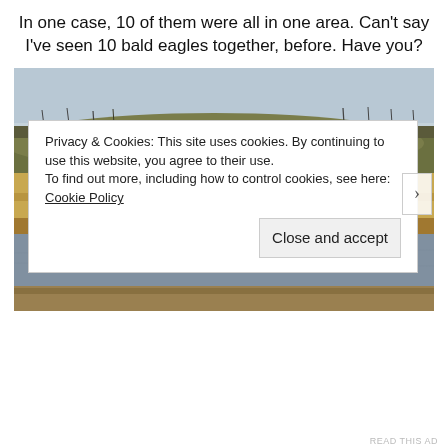In one case, 10 of them were all in one area. Can't say I've seen 10 bald eagles together, before. Have you?
[Figure (photo): Outdoor winter landscape photo showing a frozen or icy lake/river in the foreground with reed grasses along the bank. Several dark birds (bald eagles) are visible standing on the ice. In the background are dormant golden grasslands and bare deciduous trees on rolling hills under an overcast pale sky.]
Privacy & Cookies: This site uses cookies. By continuing to use this website, you agree to their use.
To find out more, including how to control cookies, see here: Cookie Policy
Close and accept